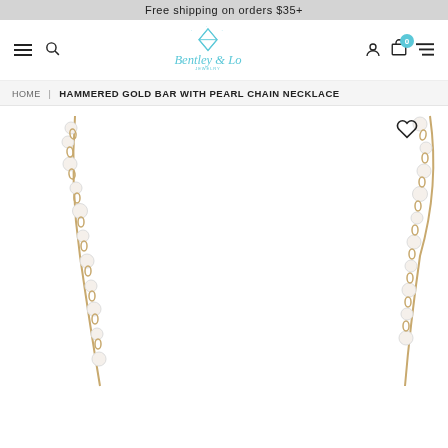Free shipping on orders $35+
[Figure (logo): Bentley & Lo Jewelry logo with diamond icon and cursive text]
HOME | HAMMERED GOLD BAR WITH PEARL CHAIN NECKLACE
[Figure (photo): Hammered gold bar with pearl chain necklace product photo showing two sides of a pearl-and-gold chain necklace on white background]